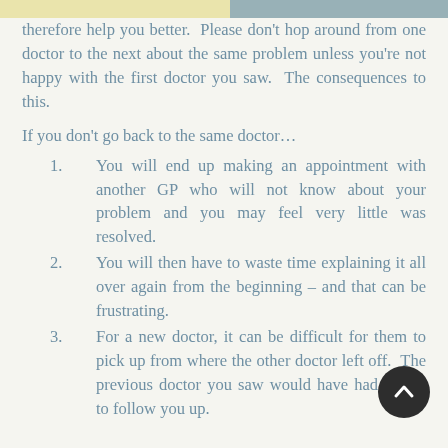therefore help you better. Please don't hop around from one doctor to the next about the same problem unless you're not happy with the first doctor you saw. The consequences to this.
If you don't go back to the same doctor...
You will end up making an appointment with another GP who will not know about your problem and you may feel very little was resolved.
You will then have to waste time explaining it all over again from the beginning – and that can be frustrating.
For a new doctor, it can be difficult for them to pick up from where the other doctor left off. The previous doctor you saw would have had a plan to follow you up.